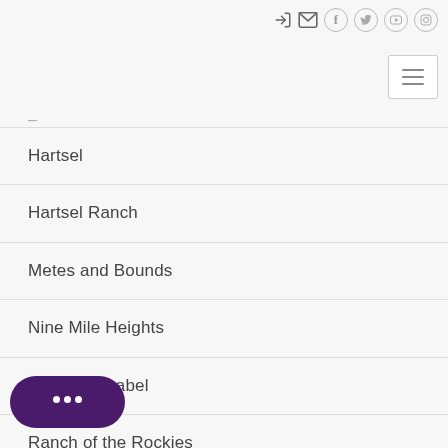[Figure (screenshot): Top navigation bar with icons: login arrow, envelope/mail, Facebook (f), Twitter (bird), YouTube, Instagram — all in gray, plus hamburger menu button on right]
–
Hartsel
Hartsel Ranch
Metes and Bounds
Nine Mile Heights
Pike San Isabel
Ranch of the Rockies
Ranches
[Figure (screenshot): Purple rounded chat widget button with three white dots in speech bubble style, bottom left corner]